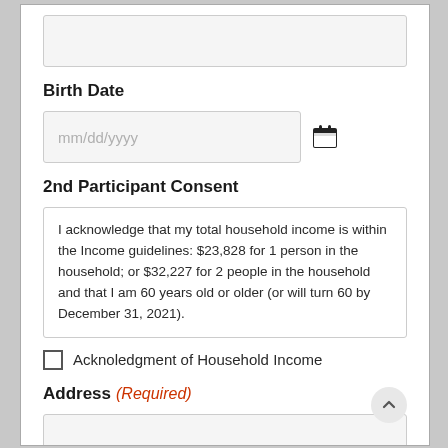(empty input field)
Birth Date
mm/dd/yyyy (date input field with calendar icon)
2nd Participant Consent
I acknowledge that my total household income is within the Income guidelines: $23,828 for 1 person in the household; or $32,227 for 2 people in the household and that I am 60 years old or older (or will turn 60 by December 31, 2021).
Acknoledgment of Household Income (checkbox)
Address (Required)
(empty input field)